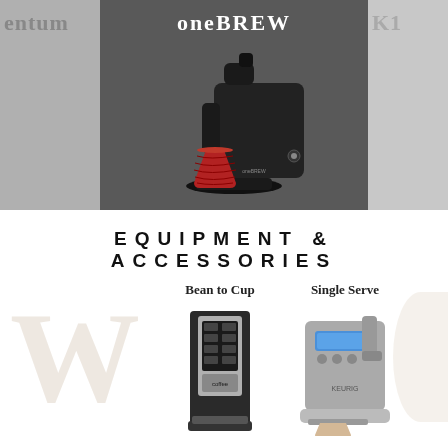[Figure (photo): Top banner showing three coffee machine product panels: left panel shows partial 'entum' (Momentum) brewer in grey, center panel shows 'oneBREW' single-serve coffee maker in black with a red cup on dark grey background, right panel shows partial 'K1...' (K15?) Keurig brewer in grey]
EQUIPMENT & ACCESSORIES
[Figure (photo): Two coffee machine products side by side: left is 'Bean to Cup' commercial coffee machine (tall dark unit with silver panel), right is 'Single Serve' Keurig-style brewer (silver/white unit). Large watermark letter 'W' in background.]